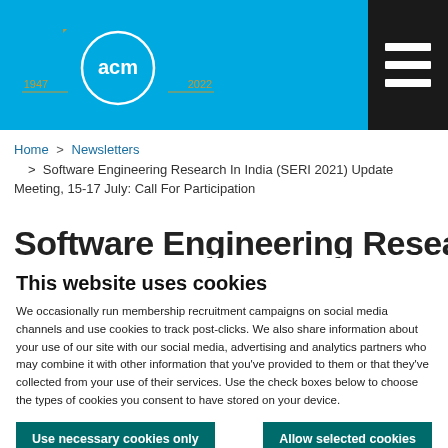[Figure (logo): ACM 75th anniversary logo with '1947', '2022', and 'acm' in a blue diamond shape with gold '75' numeral, on a blue header bar]
Header navigation bar with hamburger menu icon
Home > Newsletters > Software Engineering Research In India (SERI 2021) Update Meeting, 15-17 July: Call For Participation
Software Engineering Research
This website uses cookies
We occasionally run membership recruitment campaigns on social media channels and use cookies to track post-clicks. We also share information about your use of our site with our social media, advertising and analytics partners who may combine it with other information that you've provided to them or that they've collected from your use of their services. Use the check boxes below to choose the types of cookies you consent to have stored on your device.
Use necessary cookies only | Allow selected cookies | Allow all cookies
Necessary (checked) | Preferences | Statistics | Marketing | Show details